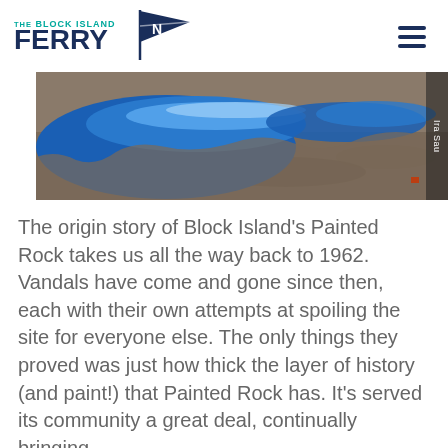THE BLOCK ISLAND FERRY
[Figure (photo): Aerial close-up photo of a large rock covered in thick layers of blue and light blue paint, with gravel/soil visible underneath — Block Island's Painted Rock. Photo credit: Ira Saul.]
The origin story of Block Island's Painted Rock takes us all the way back to 1962. Vandals have come and gone since then, each with their own attempts at spoiling the site for everyone else. The only things they proved was just how thick the layer of history (and paint!) that Painted Rock has. It's served its community a great deal, continually bringing